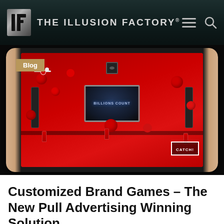THE ILLUSION FACTORY®
[Figure (screenshot): A tablet device held by two hands showing a Coca-Cola branded game with red balloons, Coke bottles, a drone, speakers, and a TV screen in a red room. A gold 'Blog' badge overlays the top-left of the image.]
Customized Brand Games – The New Pull Advertising Winning Solution